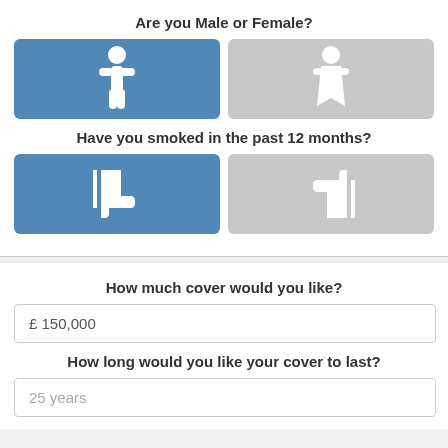Are you Male or Female?
[Figure (infographic): Two toggle buttons: Male (blue, selected, person icon) and Female (gray, unselected, person icon)]
Have you smoked in the past 12 months?
[Figure (infographic): Two toggle buttons: thumbs down (blue, selected) and thumbs up (gray, unselected)]
How much cover would you like?
£ 150,000
How long would you like your cover to last?
25 years